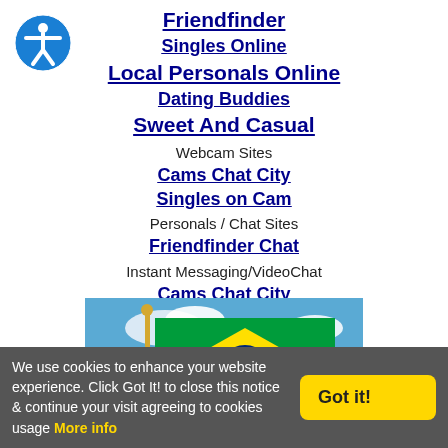[Figure (logo): Blue circular accessibility icon with person figure in white]
Friendfinder
Singles Online
Local Personals Online
Dating Buddies
Sweet And Casual
Webcam Sites
Cams Chat City
Singles on Cam
Personals / Chat Sites
Friendfinder Chat
Instant Messaging/VideoChat
Cams Chat City
Miscellaneous
The Onion
[Figure (photo): Photo of the Brazilian flag waving against a blue sky with clouds]
We use cookies to enhance your website experience. Click Got It! to close this notice & continue your visit agreeing to cookies usage More info